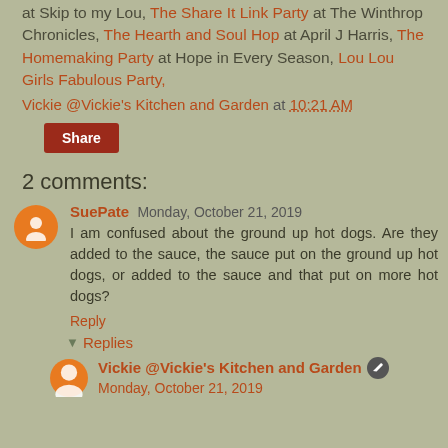at Skip to my Lou, The Share It Link Party at The Winthrop Chronicles, The Hearth and Soul Hop at April J Harris, The Homemaking Party at Hope in Every Season, Lou Lou Girls Fabulous Party,
Vickie @Vickie's Kitchen and Garden at 10:21 AM
Share
2 comments:
SuePate Monday, October 21, 2019
I am confused about the ground up hot dogs. Are they added to the sauce, the sauce put on the ground up hot dogs, or added to the sauce and that put on more hot dogs?
Reply
Replies
Vickie @Vickie's Kitchen and Garden Monday, October 21, 2019